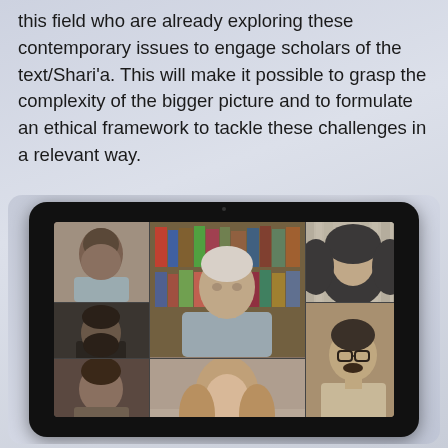this field who are already exploring these contemporary issues to engage scholars of the text/Shari'a. This will make it possible to grasp the complexity of the bigger picture and to formulate an ethical framework to tackle these challenges in a relevant way.
[Figure (photo): A tablet device showing a video conference call with multiple participants visible in a grid layout — includes men and women of diverse backgrounds, one woman wearing a hijab.]